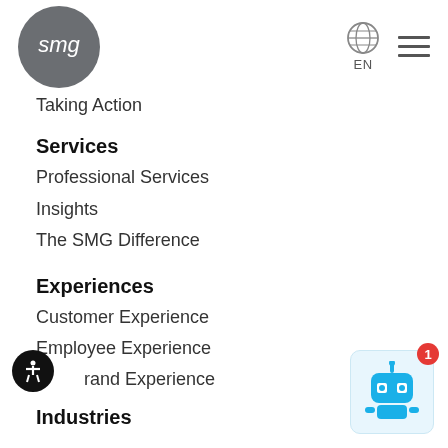[Figure (logo): SMG circular logo with grey background and white cursive text 'smg']
[Figure (other): Globe icon with EN label and hamburger menu icon in top right]
Taking Action
Services
Professional Services
Insights
The SMG Difference
Experiences
Customer Experience
Employee Experience
Brand Experience
Industries
[Figure (other): Accessibility icon - black circle with white person symbol]
[Figure (other): Chatbot widget - light blue rounded square with blue robot icon and red badge showing number 1]